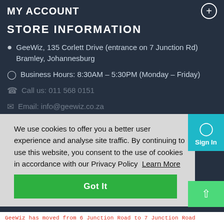MY ACCOUNT
STORE INFORMATION
GeeWiz, 135 Corlett Drive (entrance on 7 Junction Rd) Bramley, Johannesburg
Business Hours: 8:30AM – 5:30PM (Monday – Friday)
Call us: 011 568 0151
Email: info@geewiz.co.za
We use cookies to offer you a better user experience and analyse site traffic. By continuing to use this website, you consent to the use of cookies in accordance with our Privacy Policy  Learn More
Got It
GeeWiz has moved from 6 Junction Road to 7 Junction Road